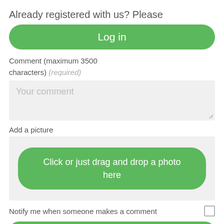Already registered with us? Please
Log in
Comment (maximum 3500 characters) (required)
Your comment
Add a picture
Click or just drag and drop a photo here
Notify me when someone makes a comment
Comment and register